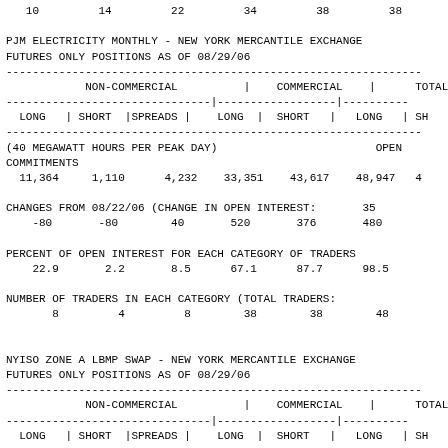10         14         22         34         38         38
PJM ELECTRICITY MONTHLY - NEW YORK MERCANTILE EXCHANGE
FUTURES ONLY POSITIONS AS OF 08/29/06
| NON-COMMERCIAL | COMMERCIAL | TOTAL |
| --- | --- | --- |
| LONG | SHORT |SPREADS | LONG | SHORT | LONG | SH |
| (40 MEGAWATT HOURS PER PEAK DAY)                           OPEN |
| COMMITMENTS |
| 11,364     1,110      4,232    33,351    43,617    48,947   4 |
| CHANGES FROM 08/22/06 (CHANGE IN OPEN INTEREST:       35 |
| -80       -80        40       520       376       480 |
| PERCENT OF OPEN INTEREST FOR EACH CATEGORY OF TRADERS |
| 22.9       2.2       8.5      67.1      87.7      98.5 |
| NUMBER OF TRADERS IN EACH CATEGORY (TOTAL TRADERS: |
| 8         4         8        38        38        48 |
NYISO ZONE A LBMP SWAP - NEW YORK MERCANTILE EXCHANGE
FUTURES ONLY POSITIONS AS OF 08/29/06
| NON-COMMERCIAL | COMMERCIAL | TOTAL |
| --- | --- | --- |
| LONG | SHORT |SPREADS | LONG | SHORT | LONG | SH |